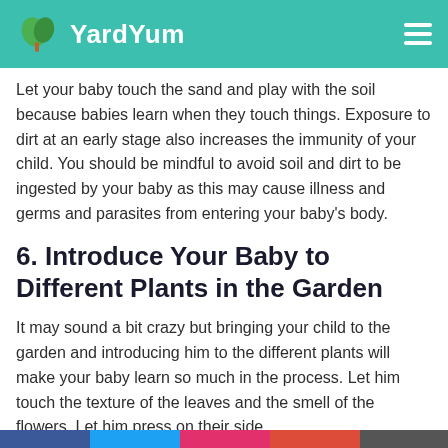YardYum
Let your baby touch the sand and play with the soil because babies learn when they touch things. Exposure to dirt at an early stage also increases the immunity of your child. You should be mindful to avoid soil and dirt to be ingested by your baby as this may cause illness and germs and parasites from entering your baby's body.
6. Introduce Your Baby to Different Plants in the Garden
It may sound a bit crazy but bringing your child to the garden and introducing him to the different plants will make your baby learn so much in the process. Let him touch the texture of the leaves and the smell of the flowers. Let him press on their side…